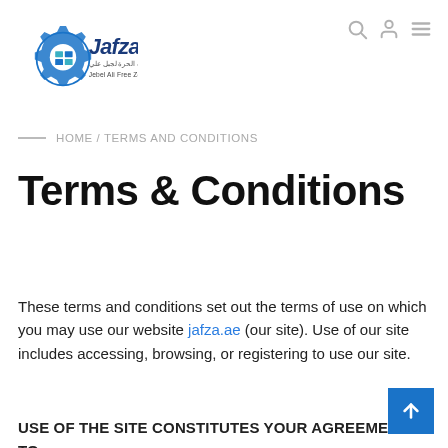[Figure (logo): Jafza - Jebel Ali Free Zone logo with gear icon and Arabic text]
HOME / TERMS AND CONDITIONS
Terms & Conditions
These terms and conditions set out the terms of use on which you may use our website jafza.ae (our site). Use of our site includes accessing, browsing, or registering to use our site.
USE OF THE SITE CONSTITUTES YOUR AGREEMENT TO